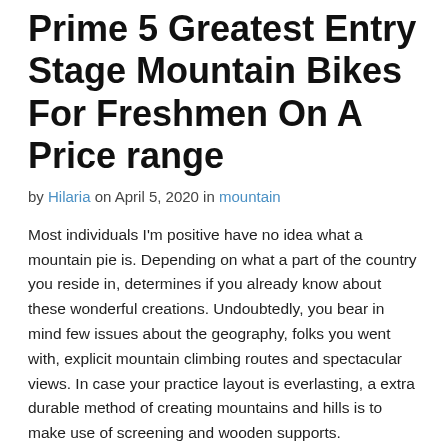Prime 5 Greatest Entry Stage Mountain Bikes For Freshmen On A Price range
by Hilaria on April 5, 2020 in mountain
Most individuals I'm positive have no idea what a mountain pie is. Depending on what a part of the country you reside in, determines if you already know about these wonderful creations. Undoubtedly, you bear in mind few issues about the geography, folks you went with, explicit mountain climbing routes and spectacular views. In case your practice layout is everlasting, a extra durable method of creating mountains and hills is to make use of screening and wooden supports.
G. Band, N. Hardie, J. Brown and S. Streather of United Kingdom were the primary people to summit this